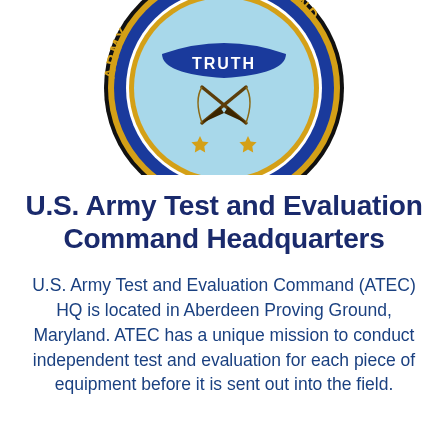[Figure (logo): U.S. Army Test and Evaluation Command seal/emblem — circular badge with blue outer ring featuring gold text 'ARMY' and 'COMMAND', light blue inner field, gold crossed quills at center, word 'TRUTH' on a blue banner, two gold stars at bottom, gold and yellow trim rings.]
U.S. Army Test and Evaluation Command Headquarters
U.S. Army Test and Evaluation Command (ATEC) HQ is located in Aberdeen Proving Ground, Maryland. ATEC has a unique mission to conduct independent test and evaluation for each piece of equipment before it is sent out into the field.